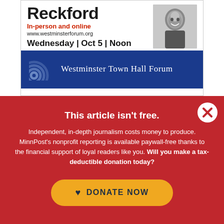[Figure (infographic): Westminster Town Hall Forum advertisement banner. Shows partial name 'Reckford', 'In-person and online', 'www.westminsterforum.org', 'Wednesday | Oct 5 | Noon', a blue banner with concentric circle logo and 'Westminster Town Hall Forum' text, and a black-and-white photo of a smiling man.]
This article isn't free.
Independent, in-depth journalism costs money to produce. MinnPost's nonprofit reporting is available paywall-free thanks to the financial support of loyal readers like you. Will you make a tax-deductible donation today?
♥ DONATE NOW